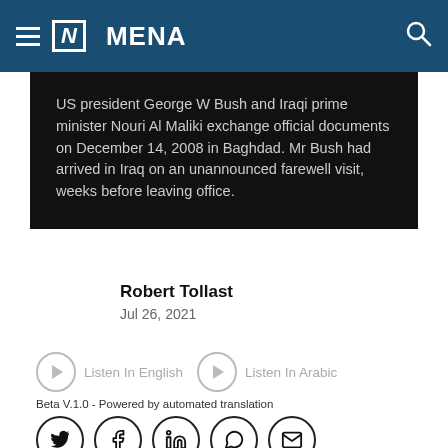[N] MENA
US president George W Bush and Iraqi prime minister Nouri Al Maliki exchange official documents on December 14, 2008 in Baghdad. Mr Bush had arrived in Iraq on an unannounced farewell visit, weeks before leaving office.
Robert Tollast
Jul 26, 2021
Listen In English   Listen In Arabic
Beta V.1.0 - Powered by automated translation